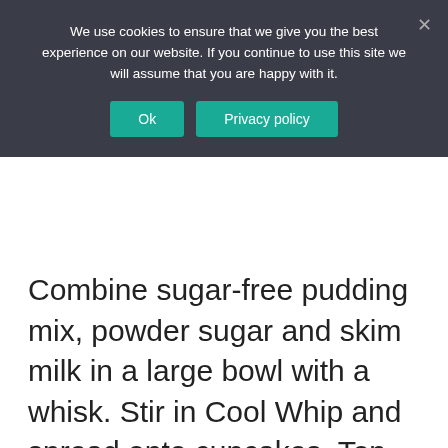We use cookies to ensure that we give you the best experience on our website. If you continue to use this site we will assume that you are happy with it.
Ok  Privacy policy
Combine sugar-free pudding mix, powder sugar and skim milk in a large bowl with a whisk. Stir in Cool Whip and spread onto cupcakes. Top with remaining marshmallows and nuts.